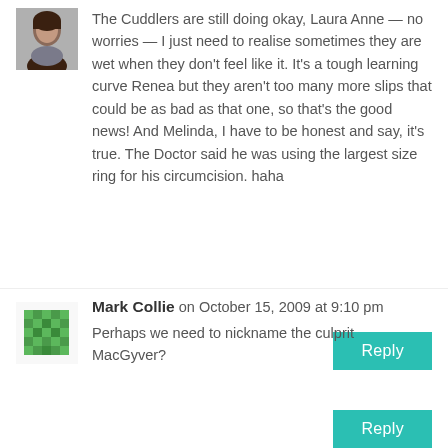[Figure (photo): Small square avatar photo of a woman with dark hair]
The Cuddlers are still doing okay, Laura Anne — no worries — I just need to realise sometimes they are wet when they don't feel like it. It's a tough learning curve Renea but they aren't too many more slips that could be as bad as that one, so that's the good news! And Melinda, I have to be honest and say, it's true. The Doctor said he was using the largest size ring for his circumcision. haha
Reply
[Figure (illustration): Green pixel/identicon avatar for Mark Collie]
Mark Collie on October 15, 2009 at 9:10 pm
Perhaps we need to nickname the culprit MacGyver?
Reply